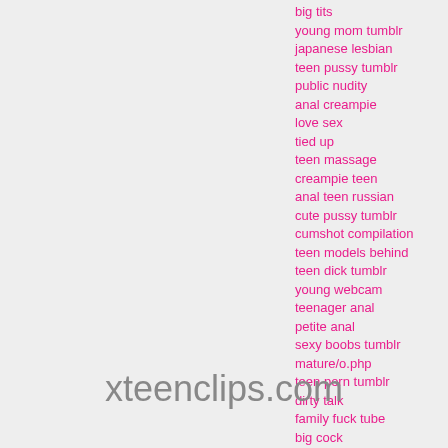big tits
young mom tumblr
japanese lesbian
teen pussy tumblr
public nudity
anal creampie
love sex
tied up
teen massage
creampie teen
anal teen russian
cute pussy tumblr
cumshot compilation
teen models behind
teen dick tumblr
young webcam
teenager anal
petite anal
sexy boobs tumblr
mature/o.php
teen porn tumblr
dirty talk
family fuck tube
big cock
anal play tumblr
anal gangbang
interracial anal
xteenclips.com